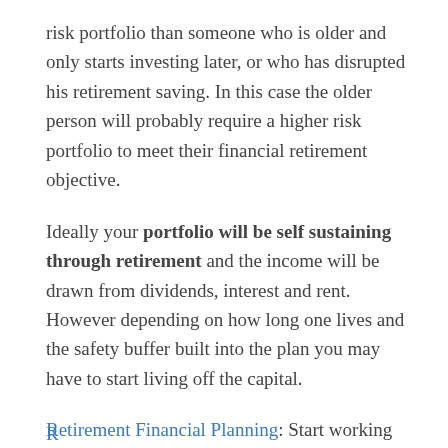risk portfolio than someone who is older and only starts investing later, or who has disrupted his retirement saving. In this case the older person will probably require a higher risk portfolio to meet their financial retirement objective.
Ideally your portfolio will be self sustaining through retirement and the income will be drawn from dividends, interest and rent. However depending on how long one lives and the safety buffer built into the plan you may have to start living off the capital.
Retirement Financial Planning: Start working through your financial plan today
…